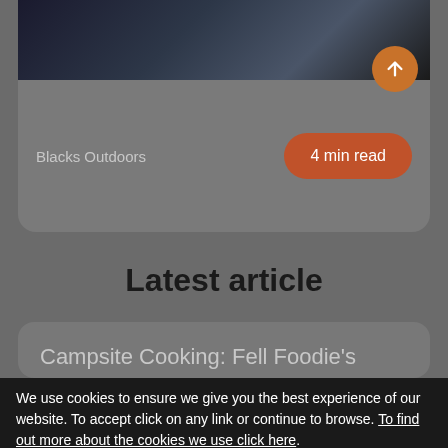[Figure (photo): Top card with dark outdoor/rocks background image, orange circular scroll-up button in top right]
Blacks Outdoors
4 min read
Latest article
Campsite Cooking: Fell Foodie's BBQ 'Sloppy Joes'
We use cookies to ensure we give you the best experience of our website. To accept click on any link or continue to browse. To find out more about the cookies we use click here.